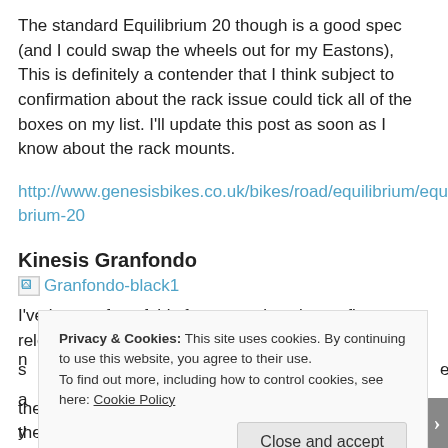The standard Equilibrium 20 though is a good spec (and I could swap the wheels out for my Eastons), This is definitely a contender that I think subject to confirmation about the rack issue could tick all of the boxes on my list. I’ll update this post as soon as I know about the rack mounts.
http://www.genesisbikes.co.uk/bikes/road/equilibrium/equilibrium-20
Kinesis Granfondo
[Figure (photo): Broken image placeholder labeled Granfondo-black1]
I’ve been a fan of this frameset since it was first released. To
Privacy & Cookies: This site uses cookies. By continuing to use this website, you agree to their use.
To find out more, including how to control cookies, see here: Cookie Policy
the party – which you’ll see below and that’s really put the